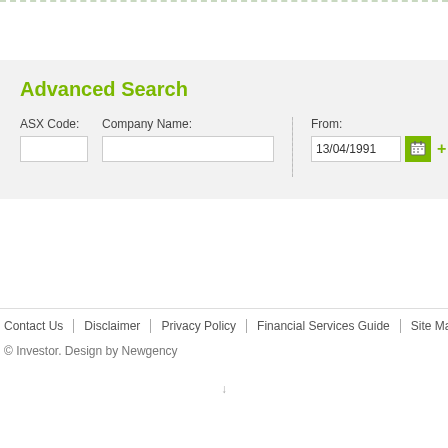Advanced Search
ASX Code:  Company Name:  From: 13/04/1991  To: 13/04/20...
Contact Us | Disclaimer | Privacy Policy | Financial Services Guide | Site Map | Em...
© Investor. Design by Newgency